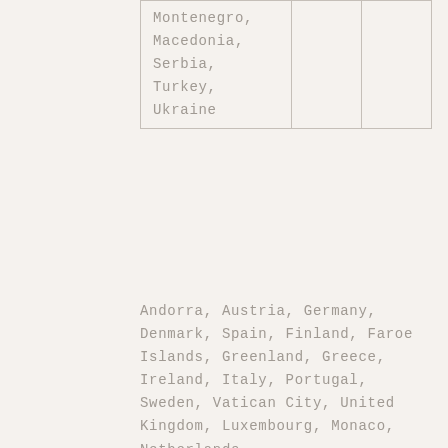|  |  |  |
| --- | --- | --- |
| Montenegro,
Macedonia,
Serbia,
Turkey,
Ukraine |  |  |
Andorra, Austria, Germany, Denmark, Spain, Finland, Faroe Islands, Greenland, Greece, Ireland, Italy, Portugal, Sweden, Vatican City, United Kingdom, Luxembourg, Monaco, Netherlands
| America | Method | Time limit |
| --- | --- | --- |
| United States, Canada | Colissimo Expert | D+6 to D+10 |